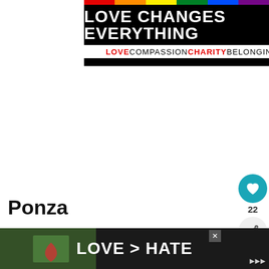[Figure (screenshot): Advertisement banner: 'LOVE CHANGES EVERYTHING' in white bold text on black background with rainbow stripe. Subtext: 'LOVE COMPASSION CHARITY BELONGING' with LOVE and CHARITY in red.]
Ponza
The island destination of Ponza was a popular vacation spot for ancient Romans and attracts visitors to this day. Located 119 k...
[Figure (screenshot): What's Next widget showing a thumbnail and text 'The Best Hotels Near...']
[Figure (screenshot): Bottom advertisement: 'LOVE > HATE' on dark background with a photo of hands forming a heart shape.]